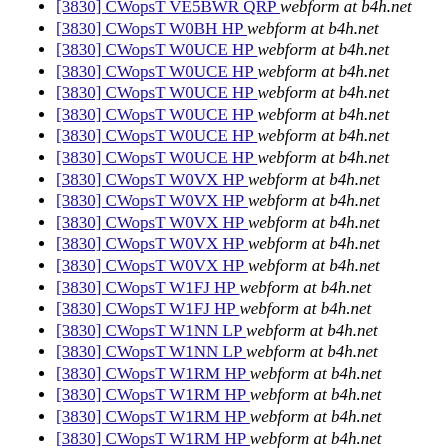[3830] CWopsT VE5BWR QRP  webform at b4h.net
[3830] CWopsT W0BH HP  webform at b4h.net
[3830] CWopsT W0UCE HP  webform at b4h.net
[3830] CWopsT W0UCE HP  webform at b4h.net
[3830] CWopsT W0UCE HP  webform at b4h.net
[3830] CWopsT W0UCE HP  webform at b4h.net
[3830] CWopsT W0UCE HP  webform at b4h.net
[3830] CWopsT W0UCE HP  webform at b4h.net
[3830] CWopsT W0VX HP  webform at b4h.net
[3830] CWopsT W0VX HP  webform at b4h.net
[3830] CWopsT W0VX HP  webform at b4h.net
[3830] CWopsT W0VX HP  webform at b4h.net
[3830] CWopsT W0VX HP  webform at b4h.net
[3830] CWopsT W1FJ HP  webform at b4h.net
[3830] CWopsT W1FJ HP  webform at b4h.net
[3830] CWopsT W1NN LP  webform at b4h.net
[3830] CWopsT W1NN LP  webform at b4h.net
[3830] CWopsT W1RM HP  webform at b4h.net
[3830] CWopsT W1RM HP  webform at b4h.net
[3830] CWopsT W1RM HP  webform at b4h.net
[3830] CWopsT W1RM HP  webform at b4h.net
[3830] CWopsT W1RM HP  webform at b4h.net
[3830] CWopsT W1UJ LP  webform at b4h.net
[3830] CWopsT W1UJ LP  webform at b4h.net
[3830] CWopsT W1UU QRP  webform at b4h.net
[3830] CWopsT W1UU QRP  webform at b4h.net